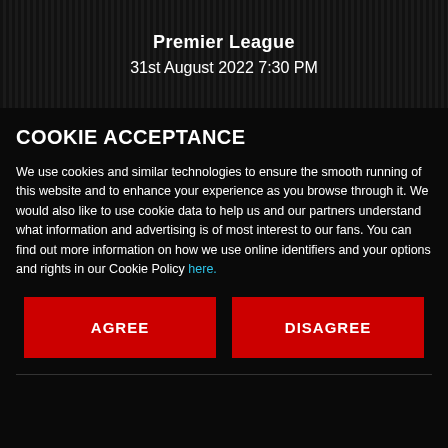Premier League
31st August 2022 7:30 PM
COOKIE ACCEPTANCE
We use cookies and similar technologies to ensure the smooth running of this website and to enhance your experience as you browse through it. We would also like to use cookie data to help us and our partners understand what information and advertising is of most interest to our fans. You can find out more information on how we use online identifiers and your options and rights in our Cookie Policy here.
AGREE
DISAGREE